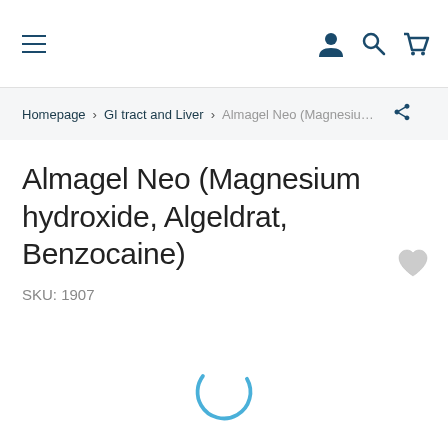Navigation bar with hamburger menu, user icon, search icon, and cart icon
Homepage > GI tract and Liver > Almagel Neo (Magnesium h…
Almagel Neo (Magnesium hydroxide, Algeldrat, Benzocaine)
SKU: 1907
[Figure (illustration): Heart/wishlist icon (light gray)]
[Figure (illustration): Circular loading spinner arc in blue]